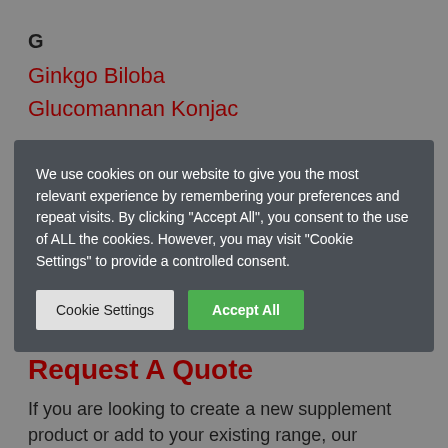G
Ginkgo Biloba
Glucomannan Konjac
We use cookies on our website to give you the most relevant experience by remembering your preferences and repeat visits. By clicking "Accept All", you consent to the use of ALL the cookies. However, you may visit "Cookie Settings" to provide a controlled consent.
Cookie Settings
Accept All
Request A Quote
If you are looking to create a new supplement product or add to your existing range, our